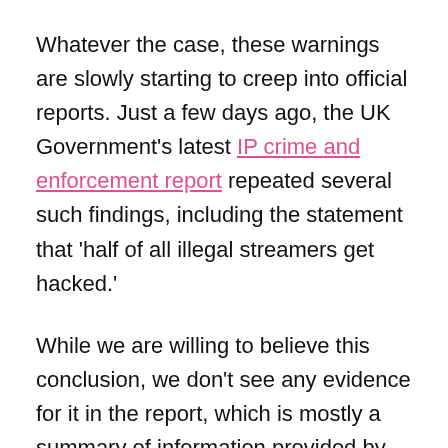Whatever the case, these warnings are slowly starting to creep into official reports. Just a few days ago, the UK Government's latest IP crime and enforcement report repeated several such findings, including the statement that 'half of all illegal streamers get hacked.'
While we are willing to believe this conclusion, we don't see any evidence for it in the report, which is mostly a summary of information provided by copyright holders.
This week, we spotted another campaign that focuses on malware and other cybercrime threats.